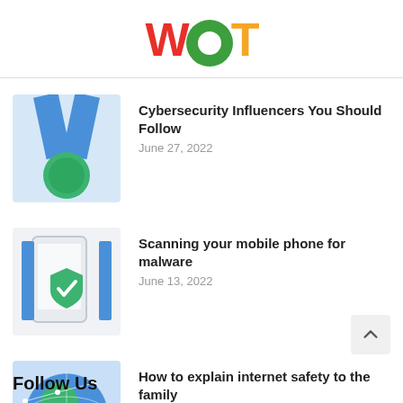WOT
[Figure (illustration): WOT logo with red W, green circle O, and orange T]
[Figure (illustration): Medal icon with blue ribbon and green base on light blue background]
Cybersecurity Influencers You Should Follow
June 27, 2022
[Figure (illustration): Phone with green shield checkmark icon on light background]
Scanning your mobile phone for malware
June 13, 2022
[Figure (illustration): Globe with network connections on blue background]
How to explain internet safety to the family
June 1, 2022
Follow Us